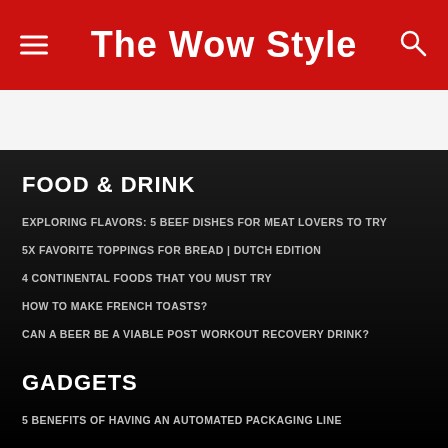The Wow Style
FOOD & DRINK
EXPLORING FLAVORS: 5 BEEF DISHES FOR MEAT LOVERS TO TRY
5X FAVORITE TOPPINGS FOR BREAD | DUTCH EDITION
4 CONTINENTAL FOODS THAT YOU MUST TRY
HOW TO MAKE FRENCH TOASTS?
CAN A BEER BE A VIABLE POST WORKOUT RECOVERY DRINK?
GADGETS
5 BENEFITS OF HAVING AN AUTOMATED PACKAGING LINE